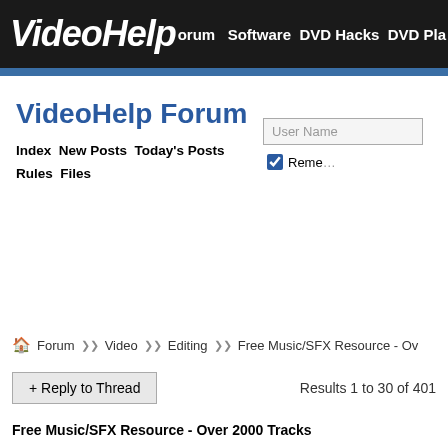VideoHelp Forum  Software  DVD Hacks  DVD Pla...
VideoHelp Forum
Index  New Posts  Today's Posts  Rules  Files
User Name
Remember
Forum >> Video >> Editing >> Free Music/SFX Resource - Ov...
+ Reply to Thread   Results 1 to 30 of 401
Free Music/SFX Resource - Over 2000 Tracks